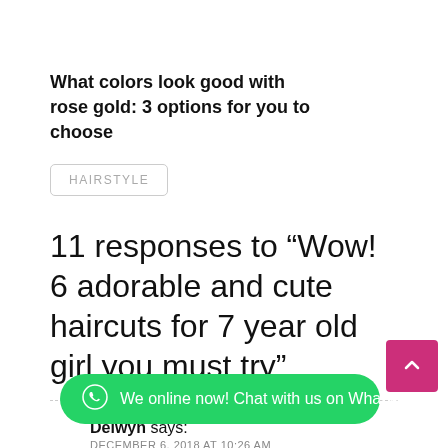What colors look good with rose gold: 3 options for you to choose
HAIRSTYLE
11 responses to “Wow! 6 adorable and cute haircuts for 7 year old girl you must try”
Delwyn says:
DECEMBER 6, 2018 AT 10:26 AM
I have tried a lot of hairstyles on my girl and it always [cut off] thick wavy hair and it's really dark brown so all
[Figure (screenshot): Green WhatsApp chat button with text: We online now! Chat with us on WhatsApp]